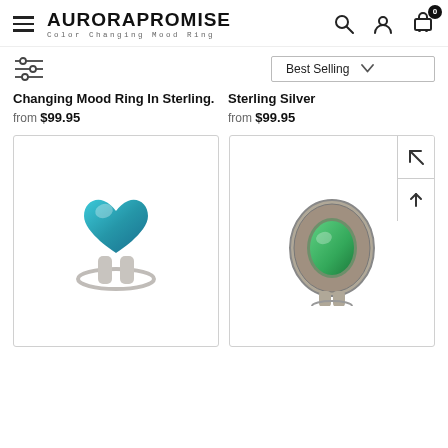AURORAPROMISE — Color Changing Mood Ring
Changing Mood Ring In Sterling.
from $99.95
Sterling Silver
from $99.95
[Figure (photo): Heart-shaped blue/teal mood ring on a silver band]
[Figure (photo): Oval green mood ring set in ornate silver marcasite-style ring]